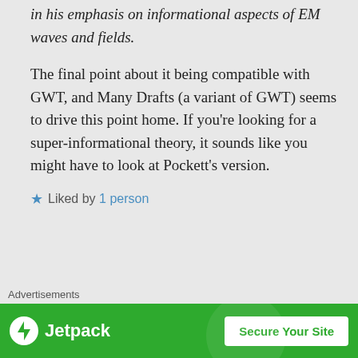in his emphasis on informational aspects of EM waves and fields.
The final point about it being compatible with GWT, and Many Drafts (a variant of GWT) seems to drive this point home. If you’re looking for a super-informational theory, it sounds like you might have to look at Pockett’s version.
★ Liked by 1 person
↳ Reply
Advertisements
[Figure (infographic): Jetpack advertisement banner with green background, Jetpack logo on left, and 'Secure Your Site' button on right]